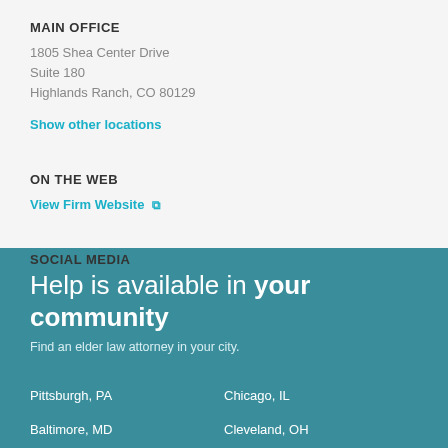MAIN OFFICE
1805 Shea Center Drive
Suite 180
Highlands Ranch, CO 80129
Show other locations
ON THE WEB
View Firm Website
SOCIAL MEDIA
Help is available in your community
Find an elder law attorney in your city.
Pittsburgh, PA
Chicago, IL
Baltimore, MD
Cleveland, OH